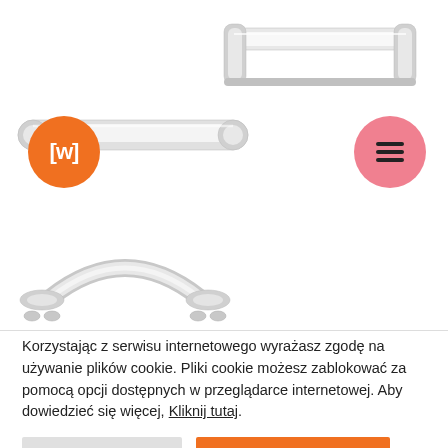[Figure (photo): Two chrome cabinet/door handles shown from front and side angles against white background. Upper area shows two modern chrome bar handles. Lower area shows a smaller arched chrome handle with mounting hardware.]
Korzystając z serwisu internetowego wyrażasz zgodę na używanie plików cookie. Pliki cookie możesz zablokować za pomocą opcji dostępnych w przeglądarce internetowej. Aby dowiedzieć się więcej, Kliknij tutaj.
Cookie Ustawienia
Zaakceptuj Wszystko